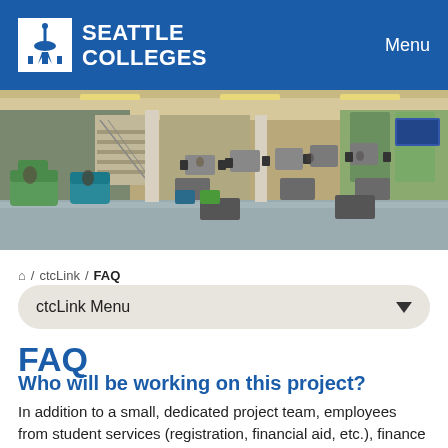Seattle Colleges — Menu
[Figure (photo): Interior photo of a Seattle Colleges campus common area with seating, tables, columns, and a staircase in the background.]
Home / ctcLink / FAQ
ctcLink Menu
FAQ
Who will be working on this project?
In addition to a small, dedicated project team, employees from student services (registration, financial aid, etc.), finance and accounting, HR, and payroll, instruction, and